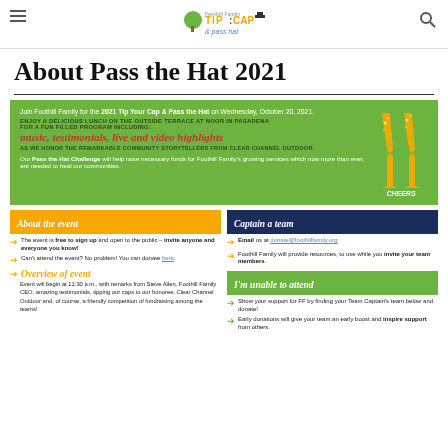Tip Your Cap & Pass the Hat — site header with hamburger menu and search icon
About Pass the Hat 2021
[Figure (infographic): Green banner with event info for 2021 Tip Your Cap & Pass the Hat on Wednesday, October 20, 2021. Includes text about lunch on the outside terrace at Noor in Pasadena, music, testimonials, live and video highlights, honoring community storytellers from Clear Channel Outdoor. Pass the Hat Challenge description. Right side shows two champagne flute silhouettes with 'CHEERS' text.]
About the event
The event is free to sign up and open to the public – invite anyone and everyone you know!
Can't attend the event? No problem! You can donate here.
Overview of event
Event will begin at 11:30 a.m., with remarks from Steve Allen, Foothill Family CEO, amazing testimonials, tipping our caps to our honoree, Clear Channel Outdoor and, of course, a friendly competition of fundraising among the teams!
Captain a team
Email us at donate@foothillfamily.org
Foothill Family will provide resources, to use while you invite your team members.
I'm unable to attend
Show your support for FF by finding your Team Captain's team below and donate!
Early donations will give your team an early boost and inspire support from others.